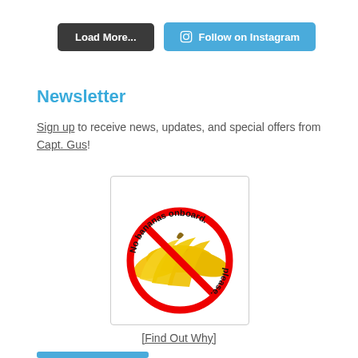Load More...
Follow on Instagram
Newsletter
Sign up to receive news, updates, and special offers from Capt. Gus!
[Figure (illustration): No bananas onboard please — circular red prohibition sign over a bunch of yellow bananas with text curved around the top]
[Find Out Why]